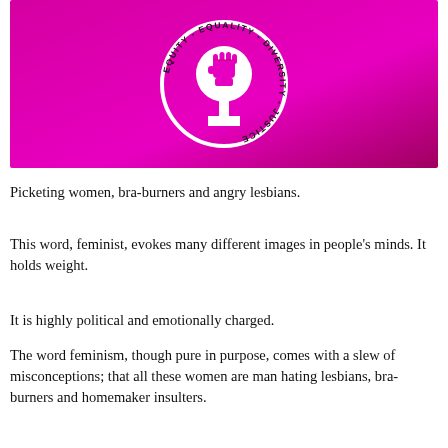[Figure (logo): Feminist symbol (Venus/female symbol with raised fist inside) on a magenta/pink gradient background. Text around the circle reads: EQUITY - EQUALITY - DIVERSITY - JUSTICE]
Picketing women, bra-burners and angry lesbians.
This word, feminist, evokes many different images in people’s minds. It holds weight.
It is highly political and emotionally charged.
The word feminism, though pure in purpose, comes with a slew of misconceptions; that all these women are man hating lesbians, bra-burners and homemaker insulters.